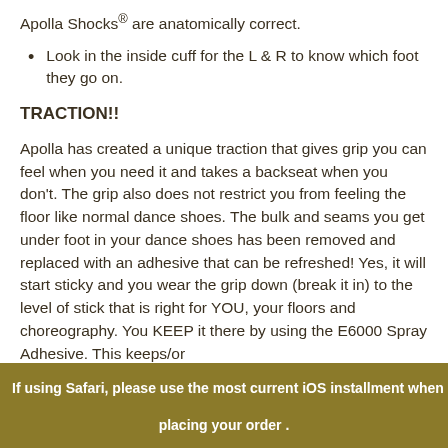Apolla Shocks® are anatomically correct.
Look in the inside cuff for the L & R to know which foot they go on.
TRACTION!!
Apolla has created a unique traction that gives grip you can feel when you need it and takes a backseat when you don't. The grip also does not restrict you from feeling the floor like normal dance shoes. The bulk and seams you get under foot in your dance shoes has been removed and replaced with an adhesive that can be refreshed! Yes, it will start sticky and you wear the grip down (break it in) to the level of stick that is right for YOU, your floors and choreography. You KEEP it there by using the E6000 Spray Adhesive. This keeps/or...
If using Safari, please use the most current iOS installment when placing your order .